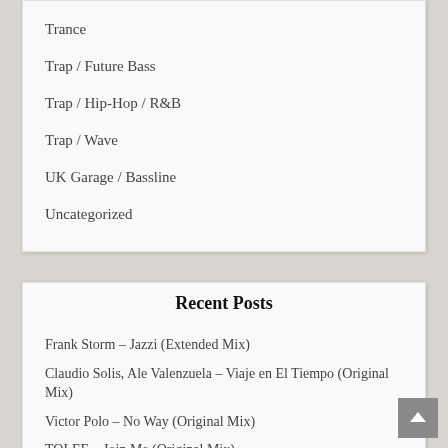Trance
Trap / Future Bass
Trap / Hip-Hop / R&B
Trap / Wave
UK Garage / Bassline
Uncategorized
Recent Posts
Frank Storm – Jazzi (Extended Mix)
Claudio Solis, Ale Valenzuela – Viaje en El Tiempo (Original Mix)
Victor Polo – No Way (Original Mix)
TOLEE – Join Me (Original Mix)
Desthen – Maya (Original Mix)